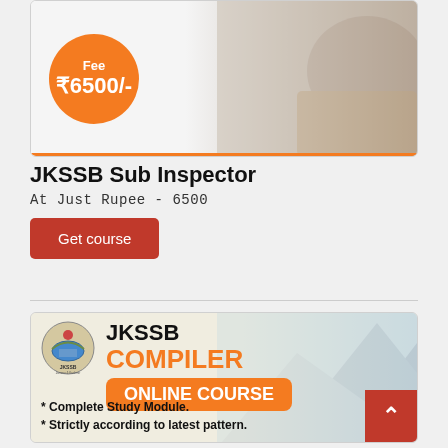[Figure (infographic): Course advertisement banner with orange circle showing Fee ₹6500/- and person writing in background]
JKSSB Sub Inspector
At Just Rupee - 6500
Get course
[Figure (infographic): JKSSB Compiler Online Course advertisement with logo, mountain background, and bullet points: * Complete Study Module. * Strictly according to latest pattern.]